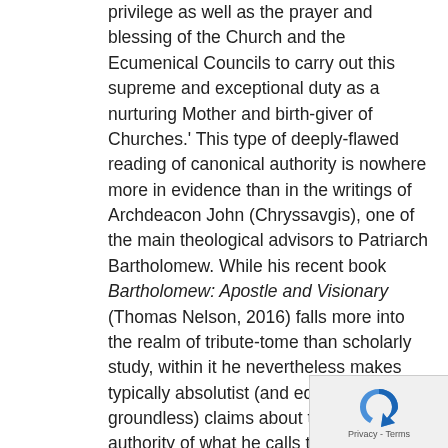privilege as well as the prayer and blessing of the Church and the Ecumenical Councils to carry out this supreme and exceptional duty as a nurturing Mother and birth-giver of Churches.' This type of deeply-flawed reading of canonical authority is nowhere more in evidence than in the writings of Archdeacon John (Chryssavgis), one of the main theological advisors to Patriarch Bartholomew. While his recent book Bartholomew: Apostle and Visionary (Thomas Nelson, 2016) falls more into the realm of tribute-tome than scholarly study, within it he nevertheless makes typically absolutist (and equally groundless) claims about the distinctive authority of what he calls the 'universal primate' (p. 66): e.g. 'As the current occupant then of the first throne of the Orthodox Church, Bartholomew is charged with the responsibility to convene and coordinate the synods of the Orthodox Church worldwide, to protect and preserve the principle of the church's unity' (p. 147):